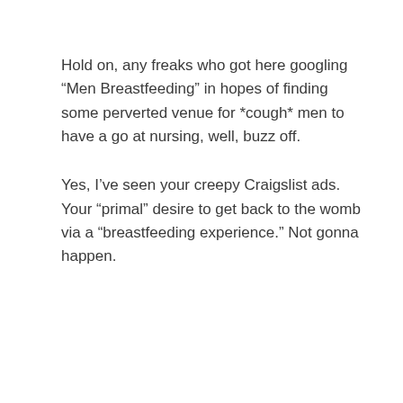Hold on, any freaks who got here googling “Men Breastfeeding” in hopes of finding some perverted venue for *cough* men to have a go at nursing, well, buzz off.
Yes, I’ve seen your creepy Craigslist ads. Your “primal” desire to get back to the womb via a “breastfeeding experience.” Not gonna happen.